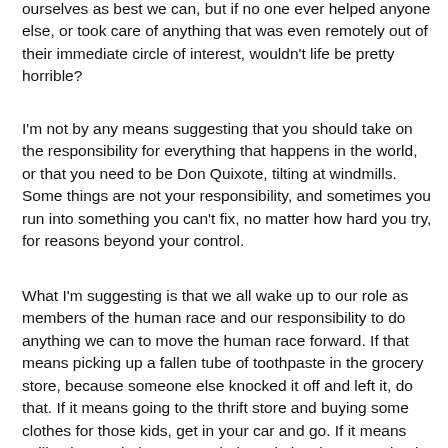ourselves as best we can, but if no one ever helped anyone else, or took care of anything that was even remotely out of their immediate circle of interest, wouldn't life be pretty horrible?
I'm not by any means suggesting that you should take on the responsibility for everything that happens in the world, or that you need to be Don Quixote, tilting at windmills. Some things are not your responsibility, and sometimes you run into something you can't fix, no matter how hard you try, for reasons beyond your control.
What I'm suggesting is that we all wake up to our role as members of the human race and our responsibility to do anything we can to move the human race forward. If that means picking up a fallen tube of toothpaste in the grocery store, because someone else knocked it off and left it, do that. If it means going to the thrift store and buying some clothes for those kids, get in your car and go. If it means calling in a pothole or a wandering, obviously stray animal, do it. Take care of